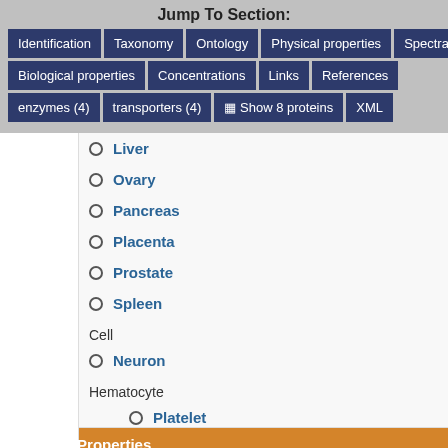Jump To Section:
Identification
Taxonomy
Ontology
Physical properties
Spectra
Biological properties
Concentrations
Links
References
enzymes (4)
transporters (4)
Show 8 proteins
XML
Liver
Ovary
Pancreas
Placenta
Prostate
Spleen
Cell
Neuron
Hematocyte
Platelet
Physical Properties
| State |  |
| --- | --- |
| State | Solid |